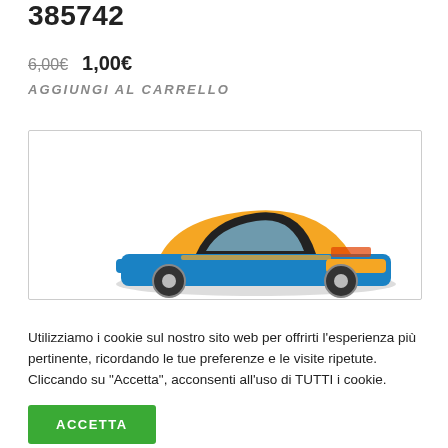385742
6,00€  1,00€
AGGIUNGI AL CARRELLO
[Figure (photo): RC truck/car toy in orange and blue colors, partially visible at the bottom of an image box with a light border]
Utilizziamo i cookie sul nostro sito web per offrirti l'esperienza più pertinente, ricordando le tue preferenze e le visite ripetute. Cliccando su "Accetta", acconsenti all'uso di TUTTI i cookie.
ACCETTA